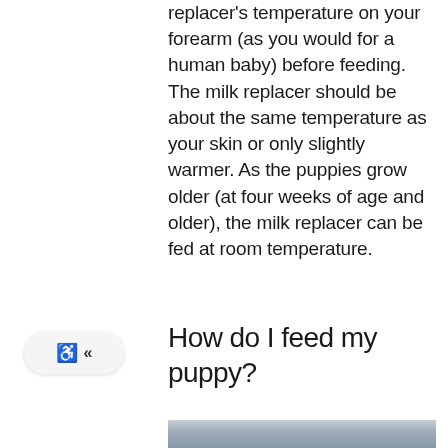replacer's temperature on your forearm (as you would for a human baby) before feeding. The milk replacer should be about the same temperature as your skin or only slightly warmer. As the puppies grow older (at four weeks of age and older), the milk replacer can be fed at room temperature.
How do I feed my puppy?
[Figure (photo): Partial view of a photo showing what appears to be a puppy being fed, cropped at the bottom of the page]